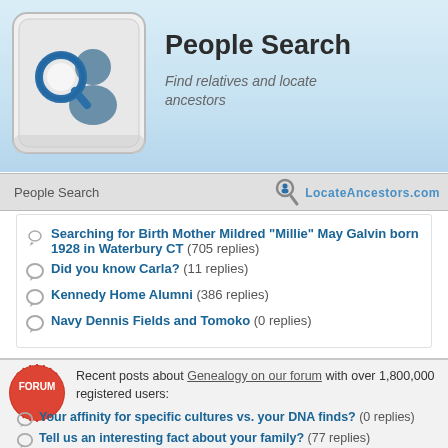[Figure (screenshot): People Search website screenshot showing header with keyboard key icon, LocateAncestors.com logo, forum topics list]
People Search
Find relatives and locate ancestors
People Search
Searching for Birth Mother Mildred "Millie" May Galvin born 1928 in Waterbury CT (705 replies)
Did you know Carla? (11 replies)
Kennedy Home Alumni (386 replies)
Navy Dennis Fields and Tomoko (0 replies)
Recent posts about Genealogy on our forum with over 1,800,000 registered users:
Your affinity for specific cultures vs. your DNA finds? (0 replies)
Tell us an interesting fact about your family? (77 replies)
DNA tests about countries? (11 replies)
Surprise Italian DNA Results?? (9 replies)
Errors in 1950 Census (44 replies)
Native American Research Methods? (10 replies)